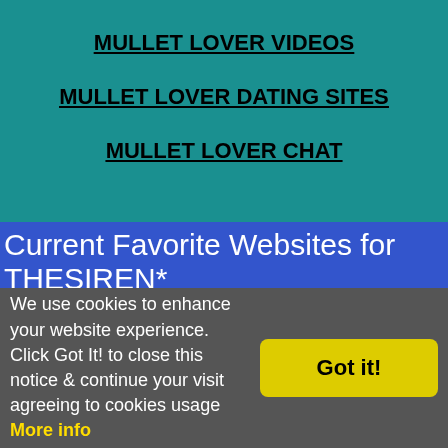MULLET LOVER VIDEOS
MULLET LOVER DATING SITES
MULLET LOVER CHAT
Current Favorite Websites for THESIREN*
No Favorite Websites added yet.
Favorites / Friends for THESIREN
No Favorites / Friends Added Yet
Last forum posts of THESIREN on Mullet Passions
We use cookies to enhance your website experience. Click Got It! to close this notice & continue your visit agreeing to cookies usage  More info